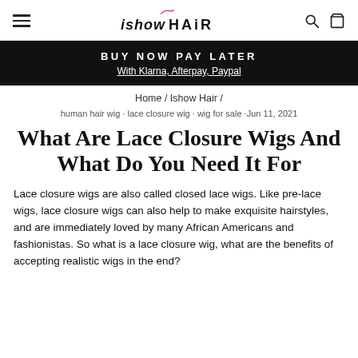IShow Hair — navigation header with menu, logo, search, and cart icons
BUY NOW PAY LATER
With Klarna, Afterpay, Paypal
Home / Ishow Hair /
human hair wig · lace closure wig · wig for sale · Jun 11, 2021
What Are Lace Closure Wigs And What Do You Need It For
Lace closure wigs are also called closed lace wigs. Like pre-lace wigs, lace closure wigs can also help to make exquisite hairstyles, and are immediately loved by many African Americans and fashionistas. So what is a lace closure wig, what are the benefits of accepting realistic wigs in the end?